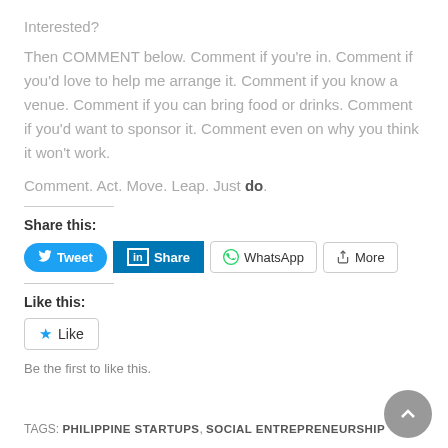Interested?
Then COMMENT below. Comment if you're in. Comment if you'd love to help me arrange it. Comment if you know a venue. Comment if you can bring food or drinks. Comment if you'd want to sponsor it. Comment even on why you think it won't work.
Comment. Act. Move. Leap. Just do.
Share this:
[Figure (screenshot): Social share buttons: Tweet, Share (LinkedIn), WhatsApp, More]
Like this:
[Figure (screenshot): Like button widget with star icon]
Be the first to like this.
TAGS: PHILIPPINE STARTUPS, SOCIAL ENTREPRENEURSHIP